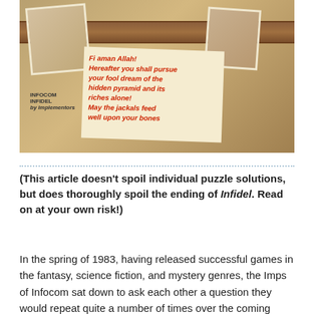[Figure (illustration): Book/game cover for Infocom's Infidel, showing polaroid photos on a burlap background with a leather belt strap, and a handwritten note in red reading: 'FI AMAN ALLAH! HEREAFTER YOU SHALL PURSUE YOUR FOOL DREAM OF THE HIDDEN PYRAMID AND ITS RICHES ALONE! MAY THE JACKALS FEED WELL UPON YOUR BONES'. Infocom logo visible at bottom left.]
(This article doesn't spoil individual puzzle solutions, but does thoroughly spoil the ending of Infidel. Read on at your own risk!)
In the spring of 1983, having released successful games in the fantasy, science fiction, and mystery genres, the Imps of Infocom sat down to ask each other a question they would repeat quite a number of times over the coming years: what remaining literary genres might make a good basis for a game? Mike Berlyn, who had just finished up Suspended, suggested, appropriately enough